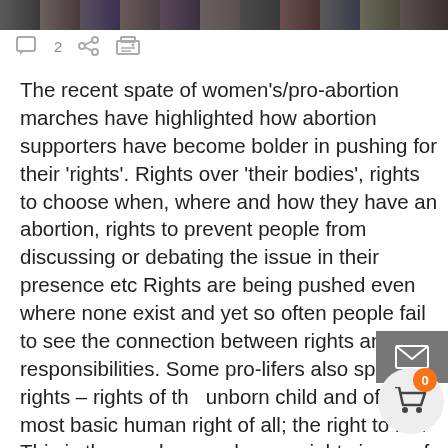[Figure (photo): Strip of a group photo of people at the top of the page]
The recent spate of women's/pro-abortion marches have highlighted how abortion supporters have become bolder in pushing for their 'rights'. Rights over 'their bodies', rights to choose when, where and how they have an abortion, rights to prevent people from discussing or debating the issue in their presence etc Rights are being pushed even where none exist and yet so often people fail to see the connection between rights and responsibilities. Some pro-lifers also speak of rights – rights of the unborn child and of the most basic human right of all; the right to life. This is the number one human rights issue of our time but sadly even many people who recognise this fail to recognise the